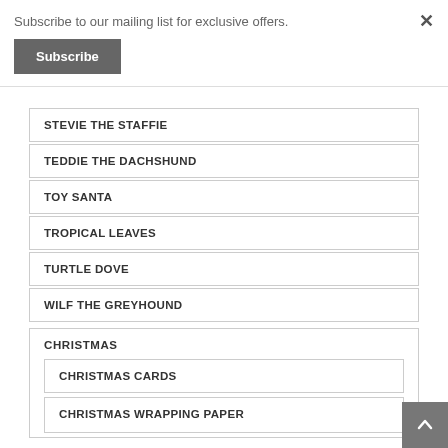Subscribe to our mailing list for exclusive offers.
Subscribe
STEVIE THE STAFFIE
TEDDIE THE DACHSHUND
TOY SANTA
TROPICAL LEAVES
TURTLE DOVE
WILF THE GREYHOUND
CHRISTMAS
CHRISTMAS CARDS
CHRISTMAS WRAPPING PAPER